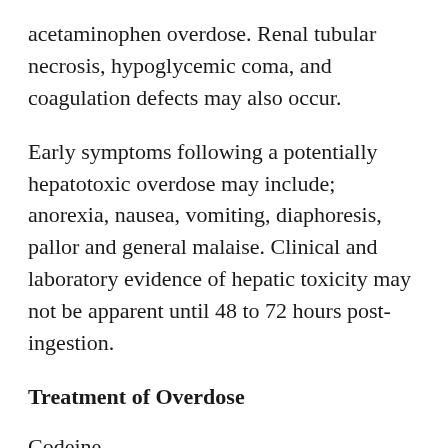acetaminophen overdose. Renal tubular necrosis, hypoglycemic coma, and coagulation defects may also occur.
Early symptoms following a potentially hepatotoxic overdose may include; anorexia, nausea, vomiting, diaphoresis, pallor and general malaise. Clinical and laboratory evidence of hepatic toxicity may not be apparent until 48 to 72 hours post-ingestion.
Treatment of Overdose
Codeine
In case of overdose, priorities are the reestablishment of a patent and protected